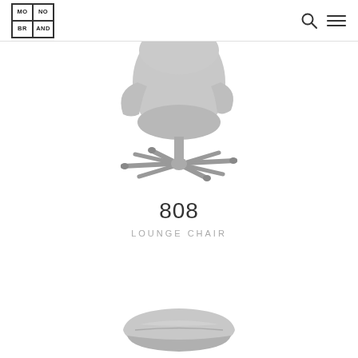MONO BRAND
[Figure (photo): Lounge chair model 808, side view, gray upholstery with chrome X-base pedestal]
808
LOUNGE CHAIR
[Figure (photo): Ottoman/footrest for the 808 lounge chair, gray upholstery, partially visible at bottom of page]